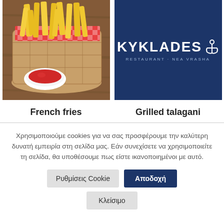[Figure (photo): Photo of french fries in a wicker basket with a small bowl of ketchup on a wooden table]
[Figure (logo): Kyklades Restaurant Nea Vrasha logo: white text on dark navy blue background with anchor icon]
French fries
Grilled talagani
Χρησιμοποιούμε cookies για να σας προσφέρουμε την καλύτερη δυνατή εμπειρία στη σελίδα μας. Εάν συνεχίσετε να χρησιμοποιείτε τη σελίδα, θα υποθέσουμε πως είστε ικανοποιημένοι με αυτό.
Ρυθμίσεις Cookie
Αποδοχή
Κλείσιμο